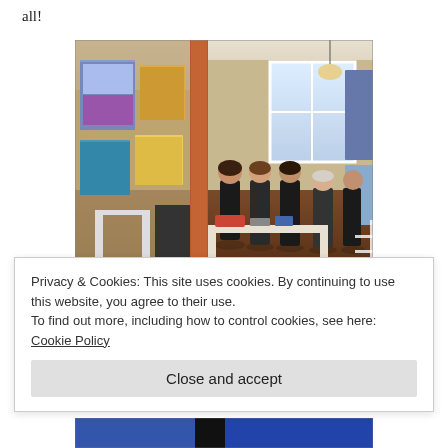all!
[Figure (photo): Interior of an art studio/gallery showing several women browsing artwork on walls and tables. Colorful paintings hang on the left wall. A window is visible in the background letting in natural light. Tables with art supplies and small items are arranged in the space.]
I have been doing smaller pieces using up some screen prints from...
Privacy & Cookies: This site uses cookies. By continuing to use this website, you agree to their use.
To find out more, including how to control cookies, see here: Cookie Policy
Close and accept
[Figure (photo): Partial view of another photo at the bottom of the page, showing blue tones.]